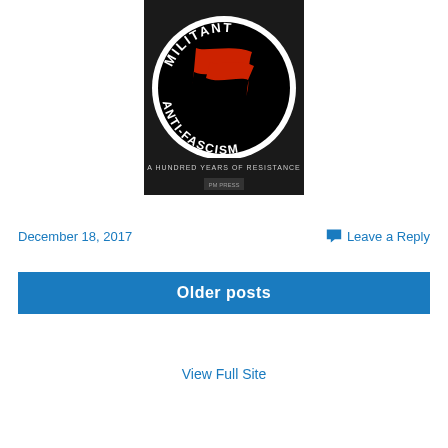[Figure (illustration): Book cover: 'Militant Anti-Fascism: A Hundred Years of Resistance' with red and black flag on black circular background]
December 18, 2017
Leave a Reply
Older posts
View Full Site